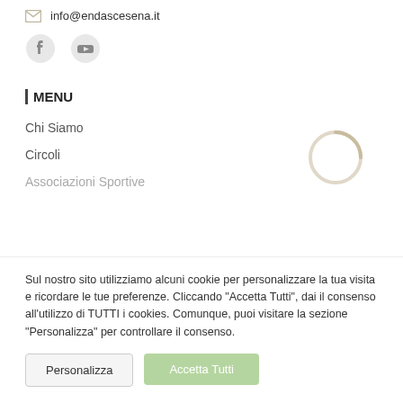info@endascesena.it
[Figure (illustration): Facebook and YouTube social media icons]
MENU
Chi Siamo
Circoli
Associazioni Sportive
[Figure (other): Loading spinner circle animation overlay]
Sul nostro sito utilizziamo alcuni cookie per personalizzare la tua visita e ricordare le tue preferenze. Cliccando "Accetta Tutti", dai il consenso all'utilizzo di TUTTI i cookies. Comunque, puoi visitare la sezione "Personalizza" per controllare il consenso.
Personalizza
Accetta Tutti